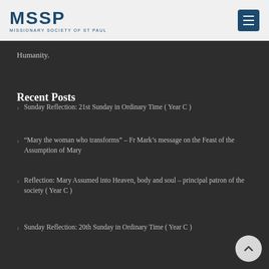MSSP — MISSIONARY SOCIETY OF ST PAUL
Humanity.
Recent Posts
Sunday Reflection: 21st Sunday in Ordinary Time ( Year C )
“Mary the woman who transforms” – Fr Mark’s message on the Feast of the Assumption of Mary
Reflection: Mary Assumed into Heaven, body and soul – principal patron of the society ( Year C )
Sunday Reflection: 20th Sunday in Ordinary Time ( Year C )